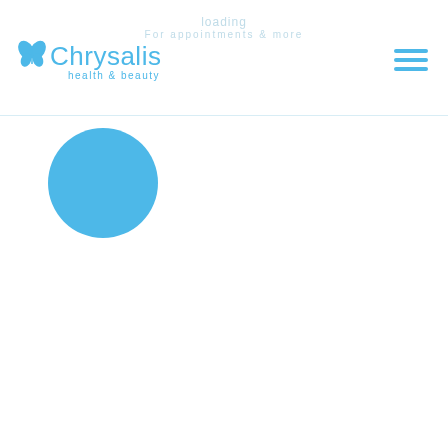[Figure (logo): Chrysalis health & beauty logo with blue butterfly icon and blue text]
For appointments & more
[Figure (other): Hamburger menu icon with three blue horizontal lines]
[Figure (other): Large solid blue circle loading indicator]